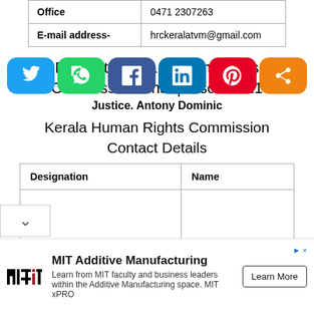| Office | 0471 2307263 |
| E-mail address- | hrckeralatvm@gmail.com |
Present Kerala Human Rights Commission Chairperson 2021
Justice. Antony Dominic
Kerala Human Rights Commission Contact Details
| Designation | Name |
| --- | --- |
|  |  |
| Chairperson | Justice. |
[Figure (other): MIT Additive Manufacturing advertisement banner with MIT logo, text, and Learn More button]